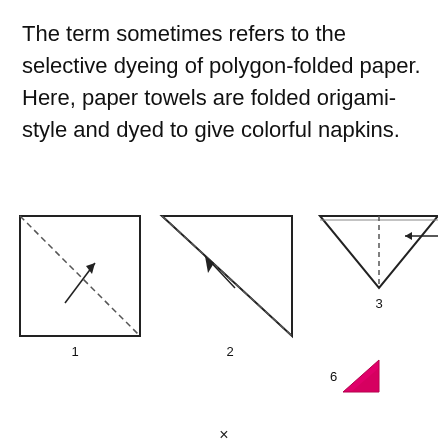The term sometimes refers to the selective dyeing of polygon-folded paper. Here, paper towels are folded origami-style and dyed to give colorful napkins.
[Figure (illustration): Three origami folding step diagrams labeled 1, 2, 3 showing paper folding instructions with dashed fold lines and arrows. Step 1: square with diagonal dashed line and upward arrow. Step 2: triangle (half of square) with dashed line and arrow. Step 3: smaller triangle with dashed vertical line and left arrow. Plus step 6 showing a small pink/magenta dyed triangle corner.]
×